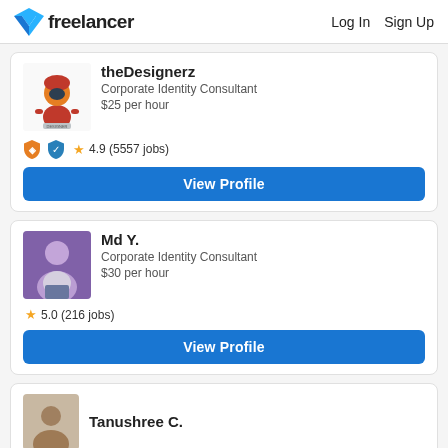freelancer | Log In  Sign Up
theDesignerz
Corporate Identity Consultant
$25 per hour
4.9 (5557 jobs)
View Profile
Md Y.
Corporate Identity Consultant
$30 per hour
5.0 (216 jobs)
View Profile
Tanushree C.